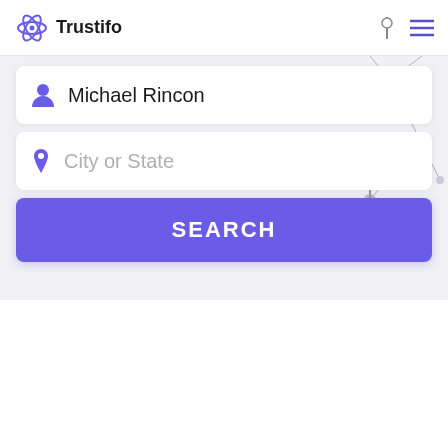Trustifo
[Figure (screenshot): Network graph background illustration with nodes and connecting lines in light gray]
Michael Rincon
City or State
SEARCH